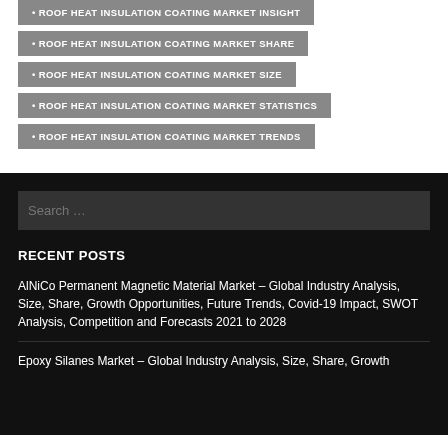ROOF HEAT INSULATION COATING MARKET INSIGHT
ROOF HEAT INSULATION COATING MARKET SHARE
ROOF HEAT INSULATION COATING MARKET SIZE
ROOF HEAT INSULATION COATING MARKET STATISTICS
ROOF HEAT INSULATION COATING MARKET TRENDS
Search ...
RECENT POSTS
AlNiCo Permanent Magnetic Material Market – Global Industry Analysis, Size, Share, Growth Opportunities, Future Trends, Covid-19 Impact, SWOT Analysis, Competition and Forecasts 2021 to 2028
Epoxy Silanes Market – Global Industry Analysis, Size, Share, Growth Opportunities, Future Trends, Covid-19 Impact, SWOT Analysis...